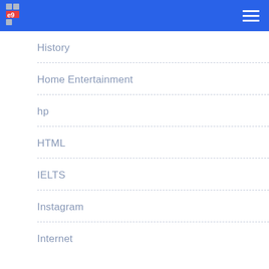logo and navigation menu
History
Home Entertainment
hp
HTML
IELTS
Instagram
Internet